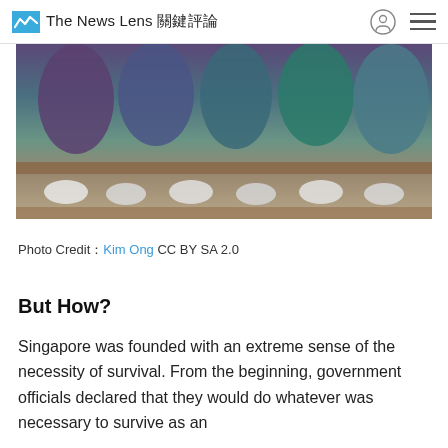The News Lens 關鍵評論
[Figure (photo): Blurred photo of people seated on a wooden bench or bleachers, showing legs and feet, with colorful clothing visible from behind.]
Photo Credit：Kim Ong CC BY SA 2.0
But How?
Singapore was founded with an extreme sense of the necessity of survival. From the beginning, government officials declared that they would do whatever was necessary to survive as an